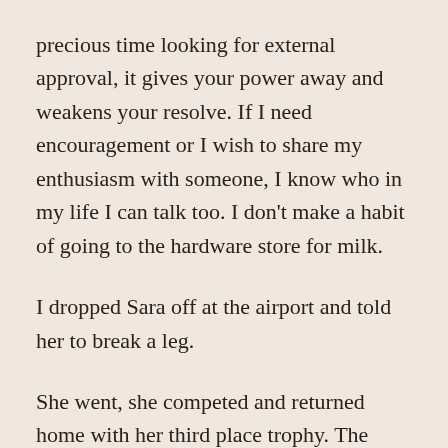precious time looking for external approval, it gives your power away and weakens your resolve. If I need encouragement or I wish to share my enthusiasm with someone, I know who in my life I can talk too. I don't make a habit of going to the hardware store for milk.
I dropped Sara off at the airport and told her to break a leg.
She went, she competed and returned home with her third place trophy. The hard work paid off. Winning trophies is wonderful but it isn't everything. What matters is consistency and the passion that fuels the